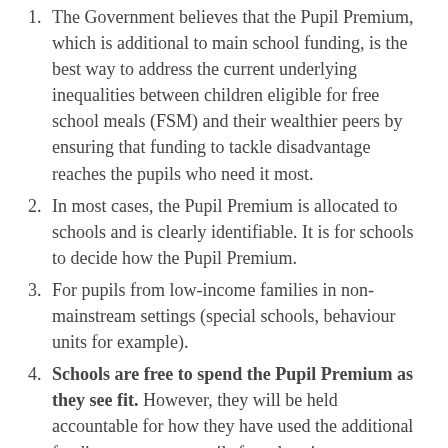1. The Government believes that the Pupil Premium, which is additional to main school funding, is the best way to address the current underlying inequalities between children eligible for free school meals (FSM) and their wealthier peers by ensuring that funding to tackle disadvantage reaches the pupils who need it most.
2. In most cases, the Pupil Premium is allocated to schools and is clearly identifiable. It is for schools to decide how the Pupil Premium.
3. For pupils from low-income families in non-mainstream settings (special schools, behaviour units for example).
4. Schools are free to spend the Pupil Premium as they see fit. However, they will be held accountable for how they have used the additional funding to support pupils from low-income families.
This will ensure that parents and others are made fully